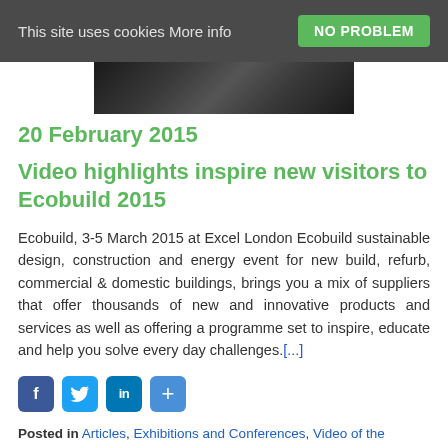This site uses cookies More info | NO PROBLEM
[Figure (photo): Partial photo of crowd/people at an event, dark toned]
20 February 2015
Video highlights inspire new visitors to Ecobuild 2015
Ecobuild, 3-5 March 2015 at Excel London Ecobuild sustainable design, construction and energy event for new build, refurb, commercial & domestic buildings, brings you a mix of suppliers that offer thousands of new and innovative products and services as well as offering a programme set to inspire, educate and help you solve every day challenges.[...]
[Figure (other): Social share icons: Facebook, Twitter, LinkedIn, plus button]
Posted in Articles, Exhibitions and Conferences, Video of the